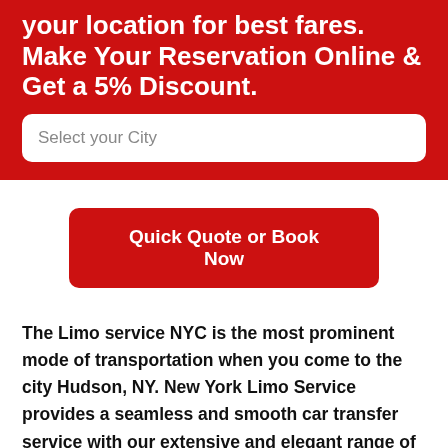your location for best fares. Make Your Reservation Online & Get a 5% Discount.
[Figure (other): Search input field with placeholder text 'Select your City']
[Figure (other): Red button labeled 'Quick Quote or Book Now']
The Limo service NYC is the most prominent mode of transportation when you come to the city Hudson, NY. New York Limo Service provides a seamless and smooth car transfer service with our extensive and elegant range of high-end luxury fleet of limousines. With Limo service New York at your service, we assure you to get you the most extraordinary, sophisticated, and enticing lifetime experience